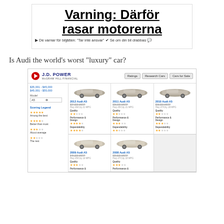[Figure (screenshot): Screenshot of a Swedish news article headline: 'Varning: Därför rasar motorerna' with subtext 'De varnar för biljätten: Tar inte ansvar / Se om din bil drabbas']
Is Audi the world's worst "luxury" car?
[Figure (screenshot): Screenshot of J.D. Power website showing ratings for Audi A5 models from 2009-2012, with star ratings for Quality, Performance & Design, and Dependability categories]